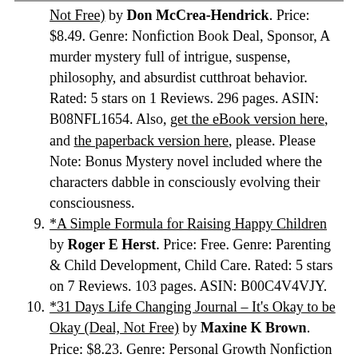(Deal, Not Free) by Don McCrea-Hendrick. Price: $8.49. Genre: Nonfiction Book Deal, Sponsor, A murder mystery full of intrigue, suspense, philosophy, and absurdist cutthroat behavior. Rated: 5 stars on 1 Reviews. 296 pages. ASIN: B08NFL1654. Also, get the eBook version here, and the paperback version here, please. Please Note: Bonus Mystery novel included where the characters dabble in consciously evolving their consciousness.
9. *A Simple Formula for Raising Happy Children by Roger E Herst. Price: Free. Genre: Parenting & Child Development, Child Care. Rated: 5 stars on 7 Reviews. 103 pages. ASIN: B00C4V4VJY.
10. *31 Days Life Changing Journal – It's Okay to be Okay (Deal, Not Free) by Maxine K Brown. Price: $8.23. Genre: Personal Growth Nonfiction Deal, Sponsor. More text continues...